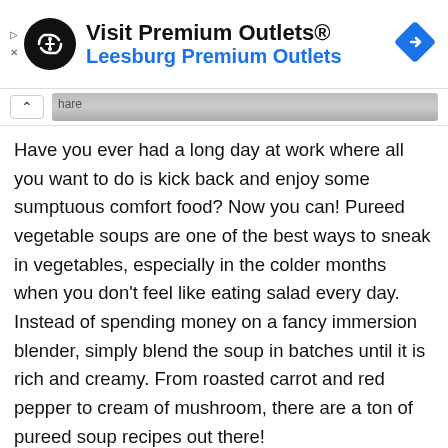[Figure (screenshot): Advertisement banner for Visit Premium Outlets® – Leesburg Premium Outlets, with circular black logo containing double arrow symbol, blue navigation diamond icon on right, and play/close controls on left.]
[Figure (screenshot): Collapse/share bar with up-arrow collapse button and partial image preview showing 'hare' text on a gray textured background.]
Have you ever had a long day at work where all you want to do is kick back and enjoy some sumptuous comfort food? Now you can! Pureed vegetable soups are one of the best ways to sneak in vegetables, especially in the colder months when you don't feel like eating salad every day. Instead of spending money on a fancy immersion blender, simply blend the soup in batches until it is rich and creamy. From roasted carrot and red pepper to cream of mushroom, there are a ton of pureed soup recipes out there!
Don't think that your blender is only good for shakes and smoothies! There are a ton of fantastic